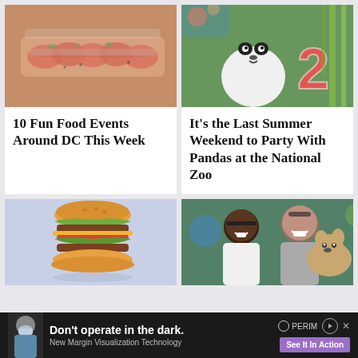[Figure (photo): A white plate with sliced tomatoes topped with fish and herbs, arranged neatly]
10 Fun Food Events Around DC This Week
[Figure (photo): A panda bear next to a large colorful number 2 cake decoration with bamboo in background]
It's the Last Summer Weekend to Party With Pandas at the National Zoo
[Figure (photo): A tall stacked burger on a light blue background]
[Figure (photo): Two people smiling and laughing with a dog at an outdoor event]
Don't operate in the dark. New Margin Visualization Technology  See It In Action  PERIM